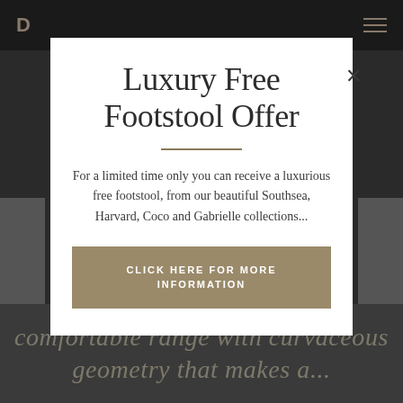[Figure (screenshot): Dark website background with header bar showing logo and hamburger menu, and partially visible italic text at bottom]
Luxury Free Footstool Offer
For a limited time only you can receive a luxurious free footstool, from our beautiful Southsea, Harvard, Coco and Gabrielle collections...
CLICK HERE FOR MORE INFORMATION